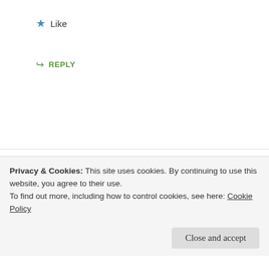★ Like
↪ REPLY
Lilabby is the name of Kids Voice and Music
APRIL 3, 2016 AT 12:06 AM
ow the poetry I loved it before many days so the total
Privacy & Cookies: This site uses cookies. By continuing to use this website, you agree to their use.
To find out more, including how to control cookies, see here: Cookie Policy
Close and accept